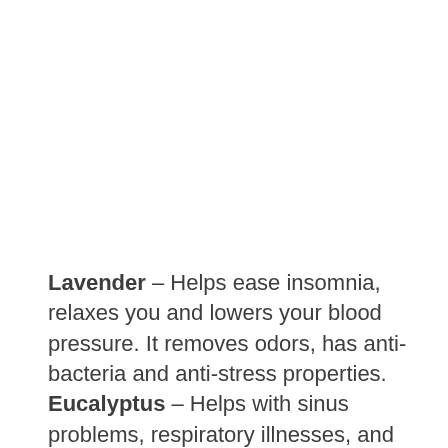Lavender – Helps ease insomnia, relaxes you and lowers your blood pressure. It removes odors, has anti-bacteria and anti-stress properties.
Eucalyptus – Helps with sinus problems, respiratory illnesses, and is a bacteria buster. Can alleviate the symptoms of the flu and…